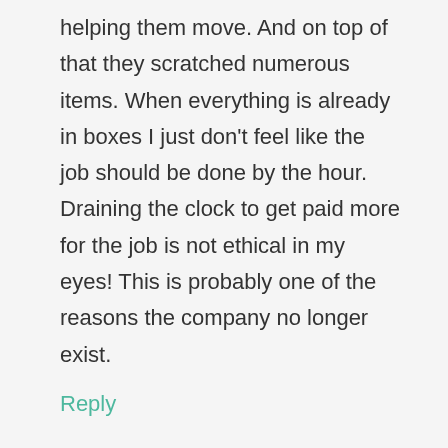helping them move. And on top of that they scratched numerous items. When everything is already in boxes I just don't feel like the job should be done by the hour. Draining the clock to get paid more for the job is not ethical in my eyes! This is probably one of the reasons the company no longer exist.
Reply